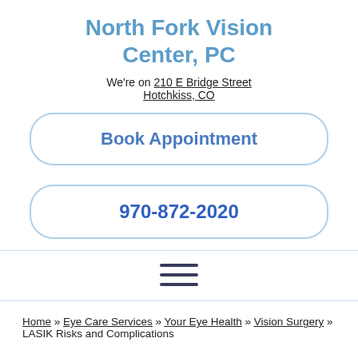North Fork Vision Center, PC
We're on 210 E Bridge Street Hotchkiss, CO
Book Appointment
970-872-2020
Home » Eye Care Services » Your Eye Health » Vision Surgery » LASIK Risks and Complications
LASIK Risks and